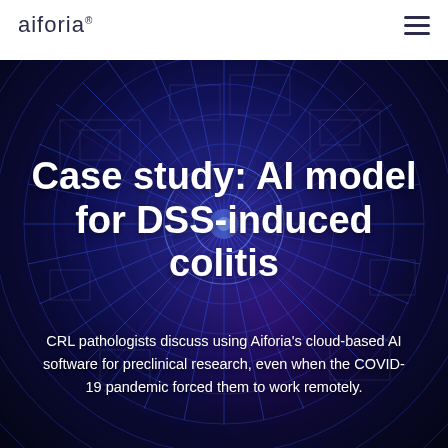[Figure (photo): Dark blue technology background showing circular radar/tunnel pattern with bright blue glowing lines radiating from center, with purple and violet tones creating a futuristic digital network effect]
aiforia®
Case study: AI model for DSS-induced colitis
CRL pathologists discuss using Aiforia's cloud-based AI software for preclinical research, even when the COVID-19 pandemic forced them to work remotely.